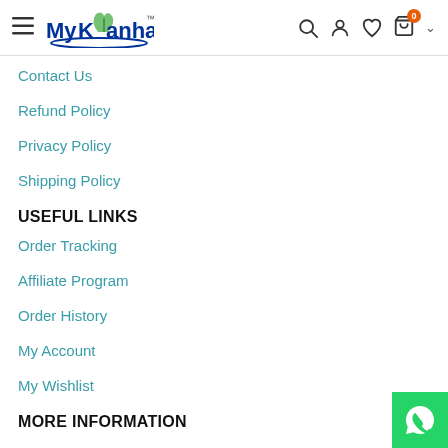MyKanha navigation header with hamburger menu, search, user, wishlist, cart icons
Contact Us
Refund Policy
Privacy Policy
Shipping Policy
USEFUL LINKS
Order Tracking
Affiliate Program
Order History
My Account
My Wishlist
MORE INFORMATION
[Figure (logo): WhatsApp contact button, green circle with WhatsApp icon]